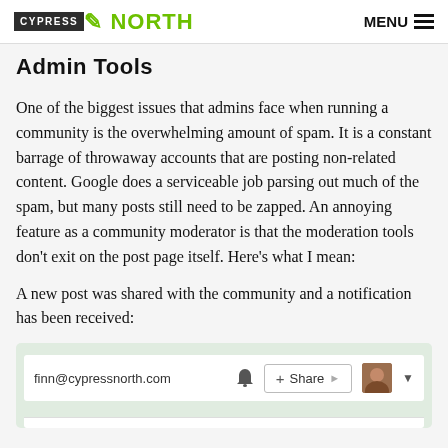CYPRESS NORTH | MENU
Admin Tools
One of the biggest issues that admins face when running a community is the overwhelming amount of spam. It is a constant barrage of throwaway accounts that are posting non-related content. Google does a serviceable job parsing out much of the spam, but many posts still need to be zapped. An annoying feature as a community moderator is that the moderation tools don't exit on the post page itself. Here's what I mean:
A new post was shared with the community and a notification has been received:
[Figure (screenshot): Screenshot of a Google+ interface bar showing finn@cypressnorth.com, a bell notification icon, a +Share button, a profile photo avatar, and a dropdown arrow, on a light green background.]